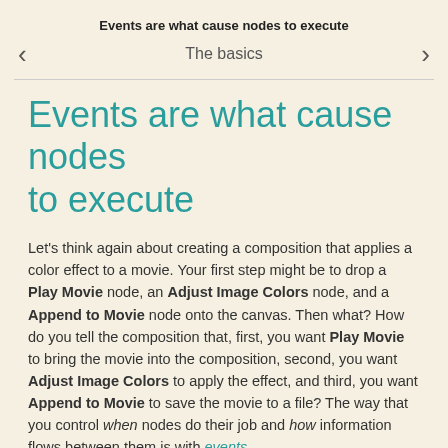Events are what cause nodes to execute
‹  The basics  ›
Events are what cause nodes to execute
Let's think again about creating a composition that applies a color effect to a movie. Your first step might be to drop a Play Movie node, an Adjust Image Colors node, and a Append to Movie node onto the canvas. Then what? How do you tell the composition that, first, you want Play Movie to bring the movie into the composition, second, you want Adjust Image Colors to apply the effect, and third, you want Append to Movie to save the movie to a file? The way that you control when nodes do their job and how information flows between them is with events.